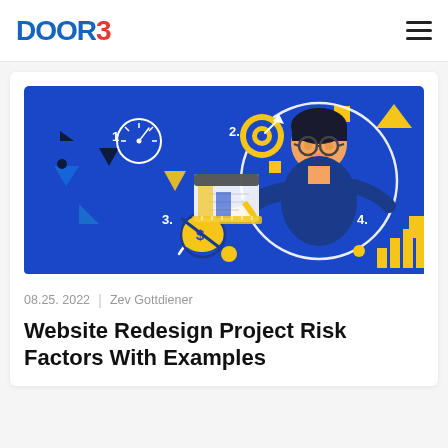DOOR3
[Figure (illustration): Blue background illustration showing a person with glasses pointing, surrounded by numbered icons (1. speedometer, 2. target/bullseye, 3. dollar speech bubble crossed out, 4. bar chart), yellow geometric shapes, and a white circle framing the person.]
08.25. 2022  |  Zev Gottdiener
Website Redesign Project Risk Factors With Examples